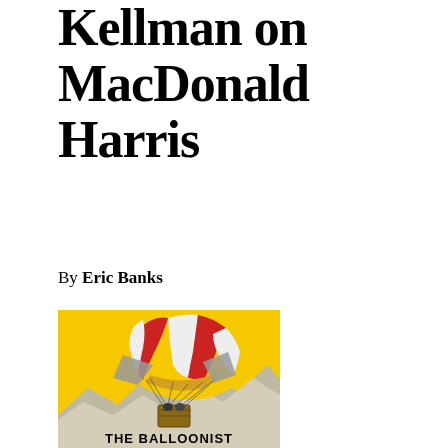Kellman on MacDonald Harris
By Eric Banks
[Figure (illustration): Book cover of 'The Balloonist' by MacDonald Harris, showing a hot air balloon with red and white striped canopy against a yellow sky, with a gondola carrying passengers, mountains visible below, and bold text 'THE BALLOONIST' at the bottom.]